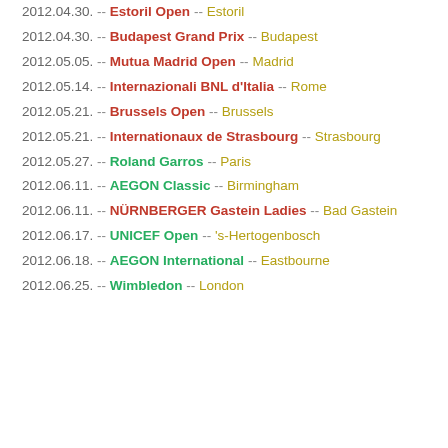2012.04.30. -- Estoril Open -- Estoril
2012.04.30. -- Budapest Grand Prix -- Budapest
2012.05.05. -- Mutua Madrid Open -- Madrid
2012.05.14. -- Internazionali BNL d'Italia -- Rome
2012.05.21. -- Brussels Open -- Brussels
2012.05.21. -- Internationaux de Strasbourg -- Strasbourg
2012.05.27. -- Roland Garros -- Paris
2012.06.11. -- AEGON Classic -- Birmingham
2012.06.11. -- NÜRNBERGER Gastein Ladies -- Bad Gastein
2012.06.17. -- UNICEF Open -- 's-Hertogenbosch
2012.06.18. -- AEGON International -- Eastbourne
2012.06.25. -- Wimbledon -- London